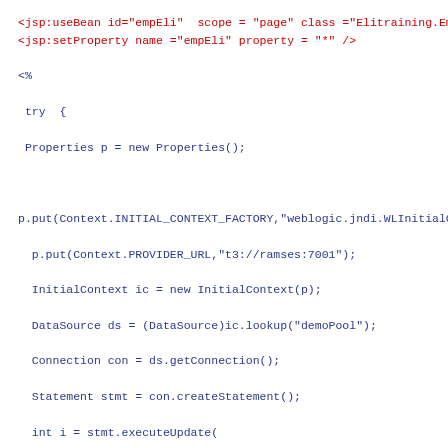<jsp:useBean id="empEli"  scope = "page" class ="Elitraining.Employee
<jsp:setProperty name ="empEli" property = "*" />

<%

try  {

 Properties p = new Properties();



p.put(Context.INITIAL_CONTEXT_FACTORY,"weblogic.jndi.WLInitialC
  p.put(Context.PROVIDER_URL,"t3://ramses:7001");

  InitialContext ic = new InitialContext(p);

  DataSource ds = (DataSource)ic.lookup("demoPool");

  Connection con = ds.getConnection();

  Statement stmt = con.createStatement();

  int i = stmt.executeUpdate(

                "insert into employee values('" + empEli.getFirstName(
                empEli.getLastName() + "')" );